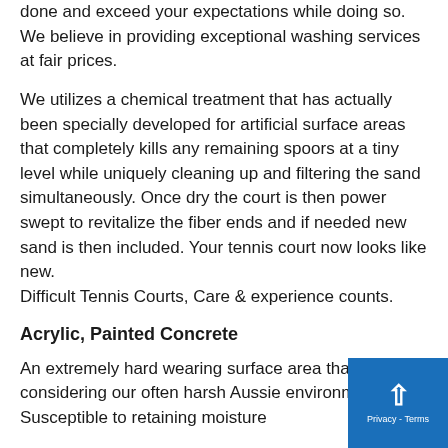done and exceed your expectations while doing so. We believe in providing exceptional washing services at fair prices.
We utilizes a chemical treatment that has actually been specially developed for artificial surface areas that completely kills any remaining spoors at a tiny level while uniquely cleaning up and filtering the sand simultaneously. Once dry the court is then power swept to revitalize the fiber ends and if needed new sand is then included. Your tennis court now looks like new.
Difficult Tennis Courts, Care & experience counts.
Acrylic, Painted Concrete
An extremely hard wearing surface area that useful considering our often harsh Aussie environment. Susceptible to retaining moisture